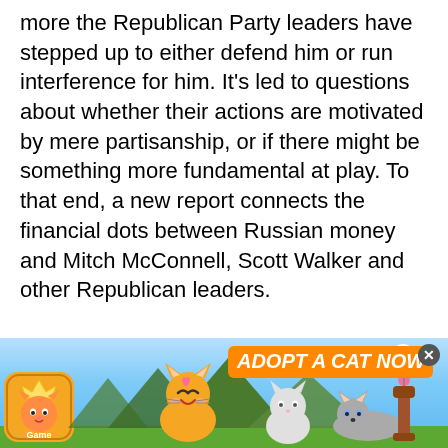more the Republican Party leaders have stepped up to either defend him or run interference for him. It's led to questions about whether their actions are motivated by mere partisanship, or if there might be something more fundamental at play. To that end, a new report connects the financial dots between Russian money and Mitch McConnell, Scott Walker and other Republican leaders.

The newly unearthed research has been produce[d by]…rkin. This week he's posted a treasure trove of
[Figure (other): Red DONATE button overlay on top of article text]
[Figure (other): Cat game advertisement banner at bottom of page showing cartoon cats and 'ADOPT A CAT NOW' text with game logo]